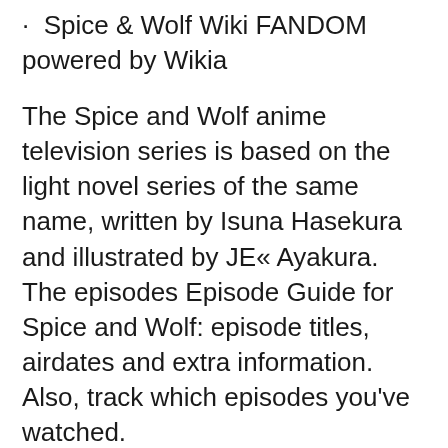· Spice & Wolf Wiki FANDOM powered by Wikia
The Spice and Wolf anime television series is based on the light novel series of the same name, written by Isuna Hasekura and illustrated by JE« Ayakura. The episodes Episode Guide for Spice and Wolf: episode titles, airdates and extra information. Also, track which episodes you've watched.
Watch Spice And Wolf Episode 1 English Dubbed Online at Animeland. Streaming in high quality and Download anime episodes for free. 27 rowsB B· Spice and Wolf is an anime television series adapted from the light novel series of